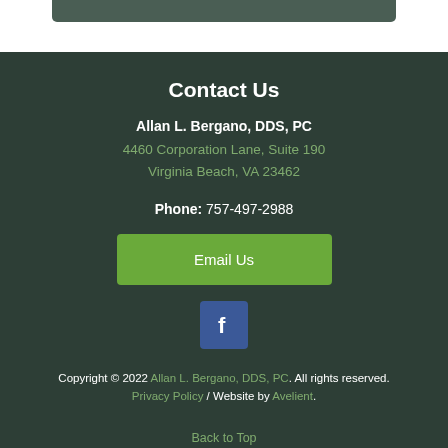Contact Us
Allan L. Bergano, DDS, PC
4460 Corporation Lane, Suite 190
Virginia Beach, VA 23462
Phone: 757-497-2988
Email Us
[Figure (logo): Facebook icon - blue square with white letter f]
Copyright © 2022 Allan L. Bergano, DDS, PC. All rights reserved.
Privacy Policy  /  Website by Avelient.
Back to Top